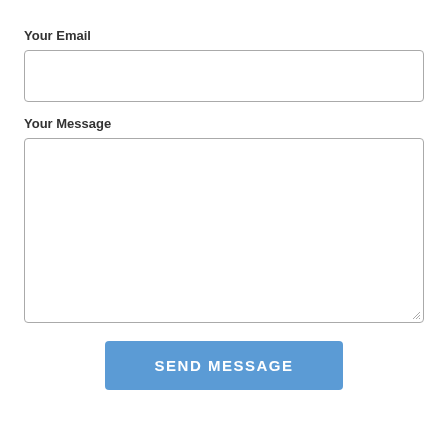Your Email
[Figure (other): Empty text input field for email]
Your Message
[Figure (other): Empty textarea input field for message]
SEND MESSAGE